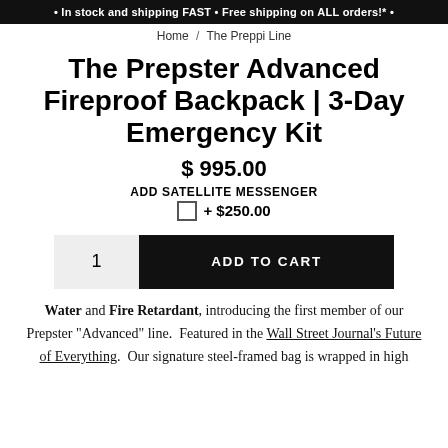• In stock and shipping FAST • Free shipping on ALL orders!* •
Home / The Preppi Line
The Prepster Advanced Fireproof Backpack | 3-Day Emergency Kit
$ 995.00
ADD SATELLITE MESSENGER
+ $250.00
1  ADD TO CART
Water and Fire Retardant, introducing the first member of our Prepster "Advanced" line. Featured in the Wall Street Journal's Future of Everything. Our signature steel-framed bag is wrapped in high